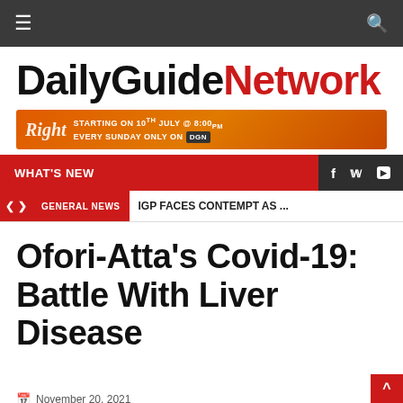DailyGuideNetwork — navigation bar with hamburger menu and search icon
DailyGuideNetwork
[Figure (infographic): Advertisement banner: Right, STARTING ON 10TH JULY @ 8:00PM EVERY SUNDAY ONLY ON DGN]
WHAT'S NEW
GENERAL NEWS  IGP FACES CONTEMPT AS ...
Ofori-Atta's Covid-19: Battle With Liver Disease
November 20, 2021